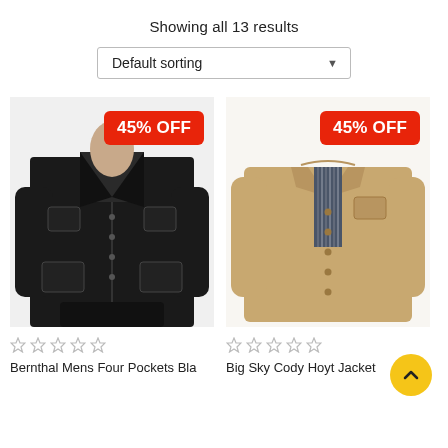Showing all 13 results
Default sorting
[Figure (photo): Black men's four pocket jacket with 45% OFF badge]
[Figure (photo): Tan/khaki Big Sky Cody Hoyt jacket with 45% OFF badge]
Bernthal Mens Four Pockets Bla
Big Sky Cody Hoyt Jacket